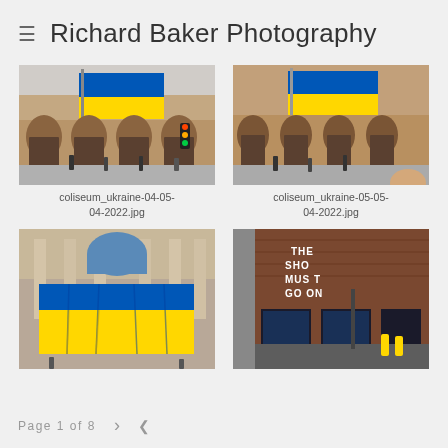Richard Baker Photography
[Figure (photo): Ukrainian flag hanging on the facade of the Coliseum theatre building with people walking on the street below]
coliseum_ukraine-04-05-04-2022.jpg
[Figure (photo): Ukrainian flag hanging on the facade of the Coliseum theatre building with people walking on the street below, slightly different angle]
coliseum_ukraine-05-05-04-2022.jpg
[Figure (photo): Large Ukrainian flag draped over the front of an ornate building with columns]
[Figure (photo): Street view of a brick building with 'THE SHOW MUST GO ON' text and wet street]
Page 1 of 8